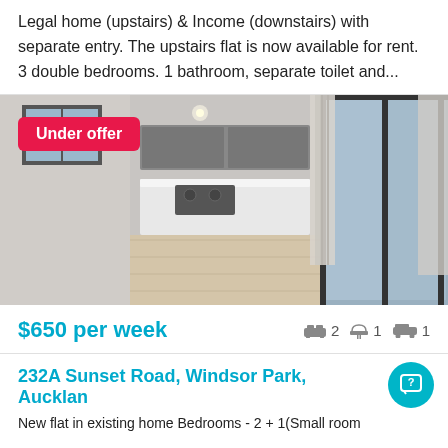Legal home (upstairs) & Income (downstairs) with separate entry. The upstairs flat is now available for rent. 3 double bedrooms. 1 bathroom, separate toilet and...
[Figure (photo): Interior photo of a modern open-plan kitchen and living area with light wood floors, white cabinetry, and large sliding glass doors with sheer curtains. A red 'Under offer' badge is overlaid in the top left.]
$650 per week  🛏 2  🚿 1  🚗 1
232A Sunset Road, Windsor Park, Auckland
New flat in existing home Bedrooms - 2 + 1(Small room